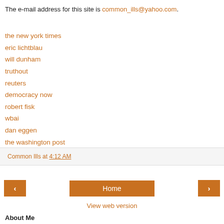The e-mail address for this site is common_ills@yahoo.com.
the new york times
eric lichtblau
will dunham
truthout
reuters
democracy now
robert fisk
wbai
dan eggen
the washington post
Common Ills at 4:12 AM
Home
View web version
About Me